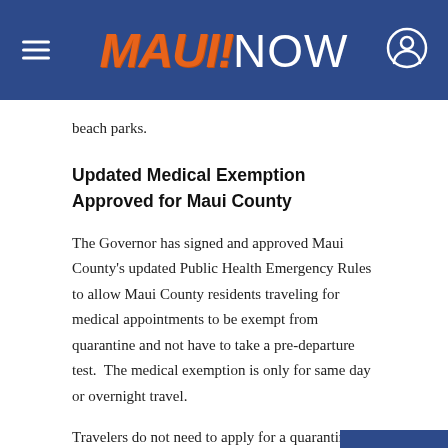MAUI NOW
beach parks.
Updated Medical Exemption Approved for Maui County
The Governor has signed and approved Maui County's updated Public Health Emergency Rules to allow Maui County residents traveling for medical appointments to be exempt from quarantine and not have to take a pre-departure test.  The medical exemption is only for same day or overnight travel.
Travelers do not need to apply for a quarantine exemption, but must present their flight itinerary, doctor's letter with date of appointment to scree